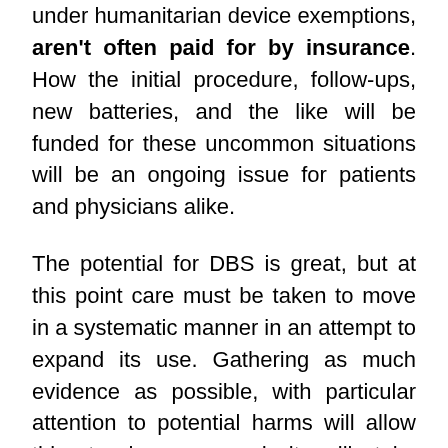under humanitarian device exemptions, aren't often paid for by insurance. How the initial procedure, follow-ups, new batteries, and the like will be funded for these uncommon situations will be an ongoing issue for patients and physicians alike.
The potential for DBS is great, but at this point care must be taken to move in a systematic manner in an attempt to expand its use. Gathering as much evidence as possible, with particular attention to potential harms will allow this to happen, and it will take everyone involved in the treatment of these patients to achieve this standard.